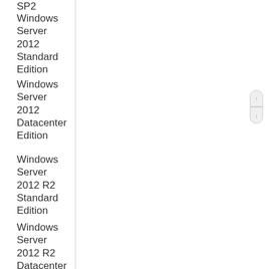SP2
Windows Server 2012 Standard Edition
Windows Server 2012 Datacenter Edition
Windows Server 2012 R2 Standard Edition
Windows Server 2012 R2 Datacenter Edition